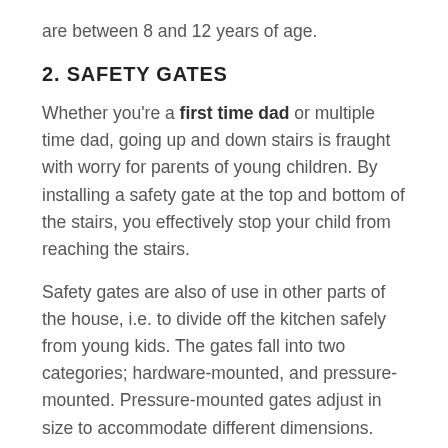are between 8 and 12 years of age.
2. SAFETY GATES
Whether you're a first time dad or multiple time dad, going up and down stairs is fraught with worry for parents of young children. By installing a safety gate at the top and bottom of the stairs, you effectively stop your child from reaching the stairs.
Safety gates are also of use in other parts of the house, i.e. to divide off the kitchen safely from young kids. The gates fall into two categories; hardware-mounted, and pressure-mounted. Pressure-mounted gates adjust in size to accommodate different dimensions.